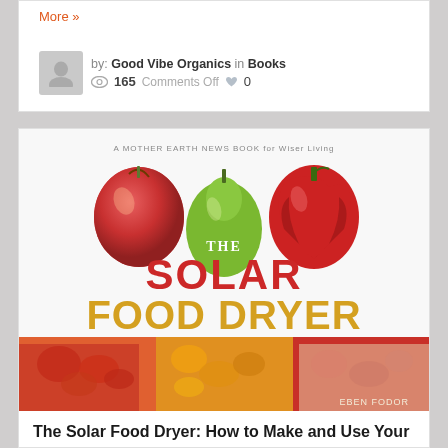More »
by: Good Vibe Organics in Books
165   Comments Off   0
[Figure (photo): Book cover of 'The Solar Food Dryer' by Eben Fodor, published by Mother Earth News Press. Shows an apple, green pear, and red bell pepper at top with text 'THE SOLAR FOOD DRYER' in large letters. Below are photos of colorful peppers and dried fruits in baskets, plus a small inset image of the solar food dryer device.]
The Solar Food Dryer: How to Make and Use Your Own Low-